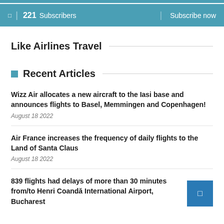221 Subscribers | Subscribe now
Like Airlines Travel
Recent Articles
Wizz Air allocates a new aircraft to the Iasi base and announces flights to Basel, Memmingen and Copenhagen!
August 18 2022
Air France increases the frequency of daily flights to the Land of Santa Claus
August 18 2022
839 flights had delays of more than 30 minutes from/to Henri Coandă International Airport, Bucharest